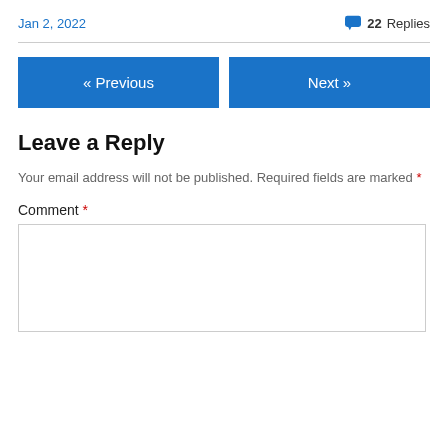Jan 2, 2022
💬 22 Replies
« Previous
Next »
Leave a Reply
Your email address will not be published. Required fields are marked *
Comment *